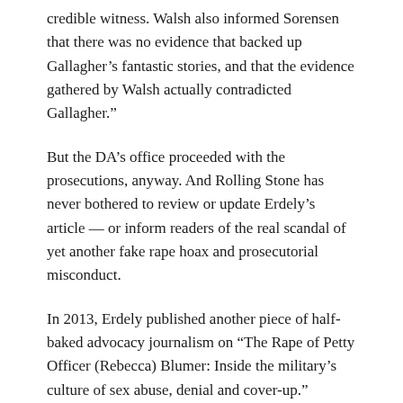credible witness. Walsh also informed Sorensen that there was no evidence that backed up Gallagher’s fantastic stories, and that the evidence gathered by Walsh actually contradicted Gallagher.”
But the DA’s office proceeded with the prosecutions, anyway. And Rolling Stone has never bothered to review or update Erdely’s article — or inform readers of the real scandal of yet another fake rape hoax and prosecutorial misconduct.
In 2013, Erdely published another piece of half-baked advocacy journalism on “The Rape of Petty Officer (Rebecca) Blumer: Inside the military’s culture of sex abuse, denial and cover-up.”
She’s a one-trick pony, ain’t she?
As Washington Examiner reporter Ashe Schow pointed out,